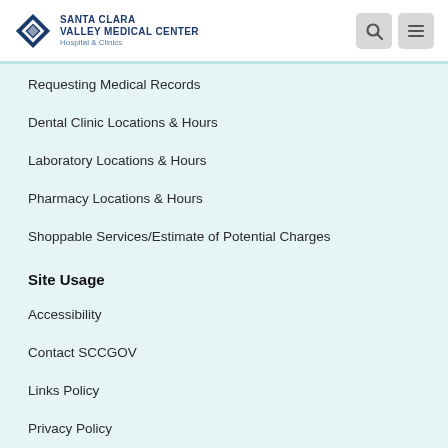Santa Clara Valley Medical Center — Hospital & Clinics
Requesting Medical Records
Dental Clinic Locations & Hours
Laboratory Locations & Hours
Pharmacy Locations & Hours
Shoppable Services/Estimate of Potential Charges
Site Usage
Accessibility
Contact SCCGOV
Links Policy
Privacy Policy
Terms of Use
SMS Terms